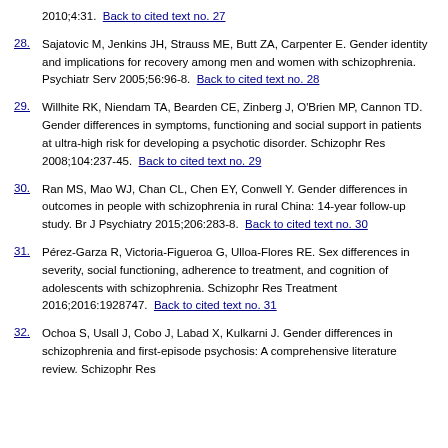2010;4:31.  Back to cited text no. 27
28. Sajatovic M, Jenkins JH, Strauss ME, Butt ZA, Carpenter E. Gender identity and implications for recovery among men and women with schizophrenia. Psychiatr Serv 2005;56:96-8.  Back to cited text no. 28
29. Willhite RK, Niendam TA, Bearden CE, Zinberg J, O'Brien MP, Cannon TD. Gender differences in symptoms, functioning and social support in patients at ultra-high risk for developing a psychotic disorder. Schizophr Res 2008;104:237-45.  Back to cited text no. 29
30. Ran MS, Mao WJ, Chan CL, Chen EY, Conwell Y. Gender differences in outcomes in people with schizophrenia in rural China: 14-year follow-up study. Br J Psychiatry 2015;206:283-8.  Back to cited text no. 30
31. Pérez-Garza R, Victoria-Figueroa G, Ulloa-Flores RE. Sex differences in severity, social functioning, adherence to treatment, and cognition of adolescents with schizophrenia. Schizophr Res Treatment 2016;2016:1928747.  Back to cited text no. 31
32. Ochoa S, Usall J, Cobo J, Labad X, Kulkarni J. Gender differences in schizophrenia and first-episode psychosis: A comprehensive literature review. Schizophr Res